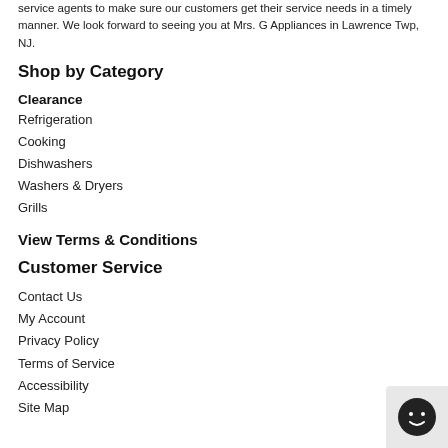service agents to make sure our customers get their service needs in a timely manner. We look forward to seeing you at Mrs. G Appliances in Lawrence Twp, NJ.
Shop by Category
Clearance
Refrigeration
Cooking
Dishwashers
Washers & Dryers
Grills
View Terms & Conditions
Customer Service
Contact Us
My Account
Privacy Policy
Terms of Service
Accessibility
Site Map
[Figure (other): Chat support button icon — dark circle with dots indicating a chat bubble interface]